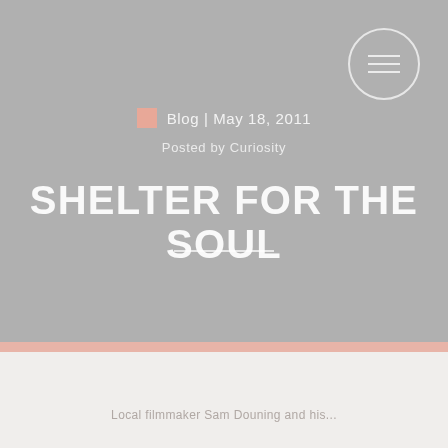[Figure (screenshot): Hero section of a blog post page with gray background, menu button in top right corner, blog category label, date, author, and large bold title 'SHELTER FOR THE SOUL' with decorative underline]
Blog | May 18, 2011
Posted by Curiosity
SHELTER FOR THE SOUL
Local filmmaker Sam Douning and his...